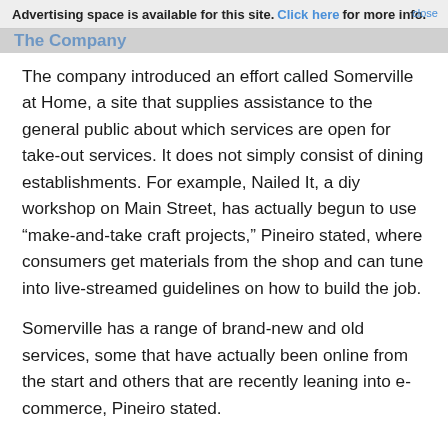Advertising space is available for this site. Click here for more info. close
The company introduced an effort called Somerville at Home, a site that supplies assistance to the general public about which services are open for take-out services. It does not simply consist of dining establishments. For example, Nailed It, a diy workshop on Main Street, has actually begun to use “make-and-take craft projects,” Pineiro stated, where consumers get materials from the shop and can tune into live-streamed guidelines on how to build the job.
Somerville has a range of brand-new and old services, some that have actually been online from the start and others that are recently leaning into e-commerce, Pineiro stated.